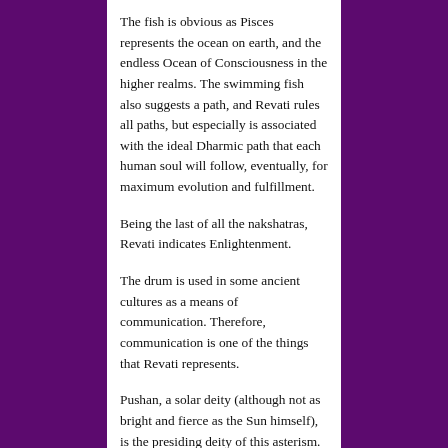The fish is obvious as Pisces represents the ocean on earth, and the endless Ocean of Consciousness in the higher realms. The swimming fish also suggests a path, and Revati rules all paths, but especially is associated with the ideal Dharmic path that each human soul will follow, eventually, for maximum evolution and fulfillment.
Being the last of all the nakshatras, Revati indicates Enlightenment.
The drum is used in some ancient cultures as a means of communication. Therefore, communication is one of the things that Revati represents.
Pushan, a solar deity (although not as bright and fierce as the Sun himself), is the presiding deity of this asterism. Pushan lights all paths - both inner and outer. So, Revati is affiliated with all kinds of travel - physical, emotional and astral or causal.
Pushan is nourishing and gives wealth and completion. Revati tends to do the same for us. Lord Vishnu is the big deity associated with Revati. Being the husband of Lakshmi, the goddess of...